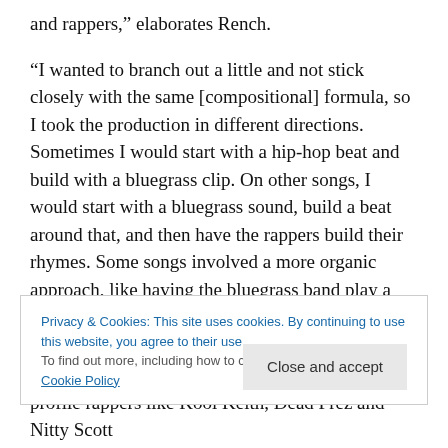and rappers,” elaborates Rench.
“I wanted to branch out a little and not stick closely with the same [compositional] formula, so I took the production in different directions. Sometimes I would start with a hip-hop beat and build with a bluegrass clip. On other songs, I would start with a bluegrass sound, build a beat around that, and then have the rappers build their rhymes. Some songs involved a more organic approach, like having the bluegrass band play a whole song through while others had more of a sampling approach.
Privacy & Cookies: This site uses cookies. By continuing to use this website, you agree to their use.
To find out more, including how to control cookies, see here: Cookie Policy
Close and accept
profile rappers like Kool Keith, Dead Prez and Nitty Scott